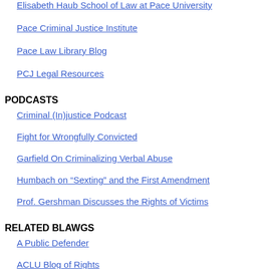Elisabeth Haub School of Law at Pace University
Pace Criminal Justice Institute
Pace Law Library Blog
PCJ Legal Resources
PODCASTS
Criminal (In)justice Podcast
Fight for Wrongfully Convicted
Garfield On Criminalizing Verbal Abuse
Humbach on “Sexting” and the First Amendment
Prof. Gershman Discusses the Rights of Victims
RELATED BLAWGS
A Public Defender
ACLU Blog of Rights